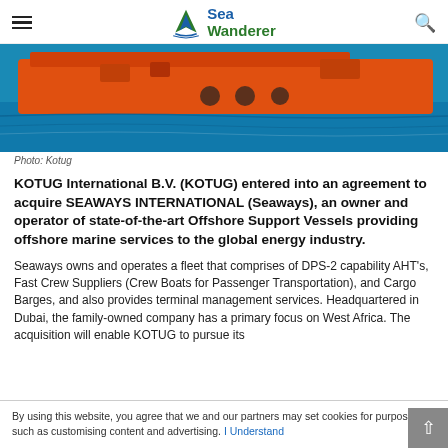Sea Wanderer
[Figure (photo): Orange offshore support vessel on blue sea water, side view]
Photo: Kotug
KOTUG International B.V. (KOTUG) entered into an agreement to acquire SEAWAYS INTERNATIONAL (Seaways), an owner and operator of state-of-the-art Offshore Support Vessels providing offshore marine services to the global energy industry.
Seaways owns and operates a fleet that comprises of DPS-2 capability AHT's, Fast Crew Suppliers (Crew Boats for Passenger Transportation), and Cargo Barges, and also provides terminal management services. Headquartered in Dubai, the family-owned company has a primary focus on West Africa. The acquisition will enable KOTUG to pursue its
By using this website, you agree that we and our partners may set cookies for purposes such as customising content and advertising. I Understand